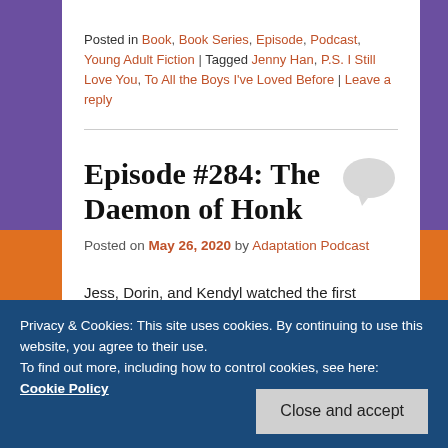Posted in Book, Book Series, Episode, Podcast, Young Adult Fiction | Tagged Jenny Han, P.S. I Still Love You, To All the Boys I've Loved Before | Leave a reply
Episode #284: The Daemon of Honk
Posted on May 26, 2020 by Adaptation Podcast
Jess, Dorin, and Kendyl watched the first series of His Dark Materials (2019– ) and talk through the
Privacy & Cookies: This site uses cookies. By continuing to use this website, you agree to their use.
To find out more, including how to control cookies, see here:
Cookie Policy
Close and accept